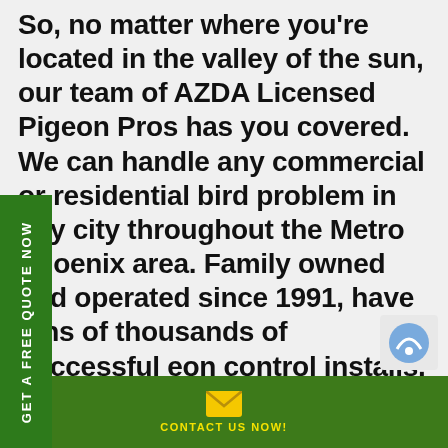So, no matter where you're located in the valley of the sun, our team of AZDA Licensed Pigeon Pros has you covered. We can handle any commercial or residential bird problem in any city throughout the Metro Phoenix area. Family owned and operated since 1991, have tens of thousands of successful eon control installs. Why would you call yone else? Quotes are always free so call, t, email or fill out the form below and save to $50 if you hire us. My advice: close your uth if you look up and call for your free ote today:)
[Figure (other): Green vertical sidebar tab with white rotated text reading GET A FREE QUOTE NOW]
[Figure (other): Small reCAPTCHA widget in bottom right]
[Figure (other): Green footer bar with yellow email envelope icon and yellow text CONTACT US NOW!]